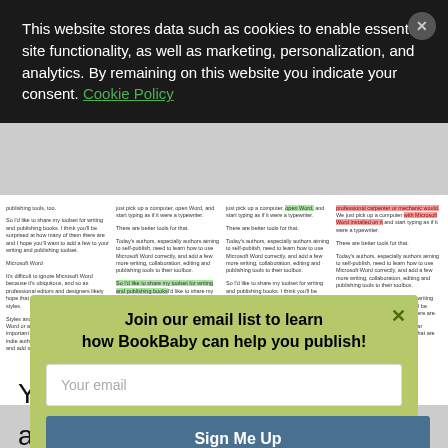This website stores data such as cookies to enable essential site functionality, as well as marketing, personalization, and analytics. By remaining on this website you indicate your consent. Cookie Policy
[Figure (screenshot): A screenshot of a website article page showing multiple columns of text with green and red highlighting, partially obscured by overlays.]
Join our email list to learn how BookBaby can help you publish!
Your email
Sign Me Up
You ca unt and cr segme catche and attem.